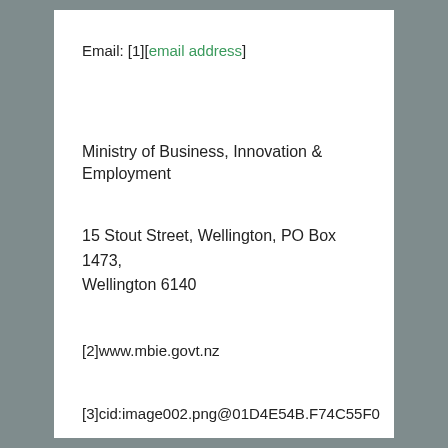Email: [1][email address]
Ministry of Business, Innovation & Employment
15 Stout Street, Wellington, PO Box 1473, Wellington 6140
[2]www.mbie.govt.nz
[3]cid:image002.png@01D4E54B.F74C55F0